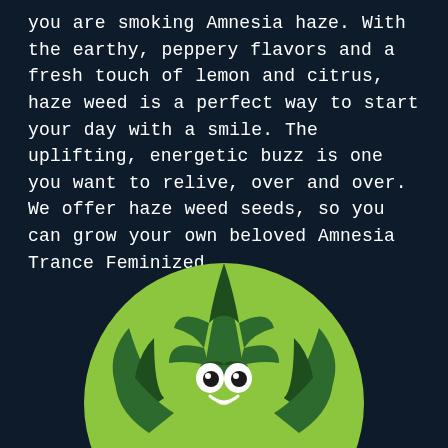you are smoking Amnesia haze. With the earthy, peppery flavors and a fresh touch of lemon and citrus, haze weed is a perfect way to start your day with a smile. The uplifting, energetic buzz is one you want to relive, over and over. We offer haze weed seeds, so you can grow your own beloved Amnesia Trance Feminized.
[Figure (illustration): Cartoon cannabis plant character with a smiling face, large eyes, and leaf arms, set inside a light green circle on a dark navy background.]